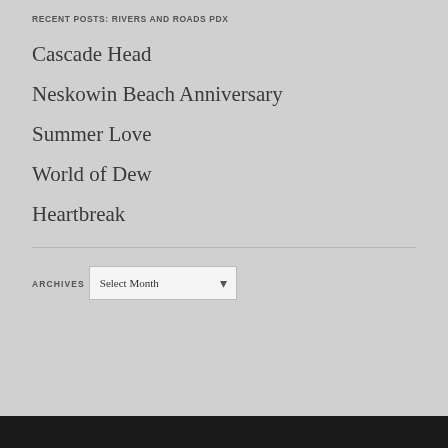RECENT POSTS: RIVERS AND ROADS PDX
Cascade Head
Neskowin Beach Anniversary
Summer Love
World of Dew
Heartbreak
ARCHIVES
Select Month